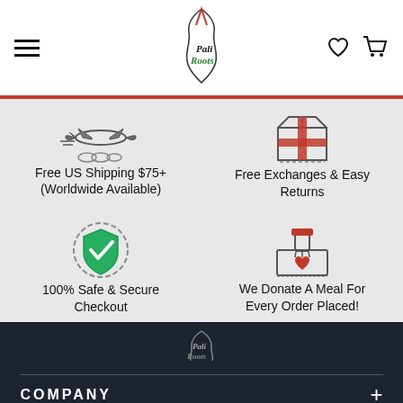Pali Roots — navigation header with hamburger menu, logo, heart icon, and cart icon
[Figure (illustration): Airplane icon representing free US shipping]
Free US Shipping $75+ (Worldwide Available)
[Figure (illustration): Package/box icon representing free exchanges and easy returns]
Free Exchanges & Easy Returns
[Figure (illustration): Green shield with checkmark representing safe and secure checkout]
100% Safe & Secure Checkout
[Figure (illustration): Hand dropping ballot/donation into box with heart, representing meal donation]
We Donate A Meal For Every Order Placed!
[Figure (logo): Pali Roots logo in white/gray on dark background in footer]
COMPANY +